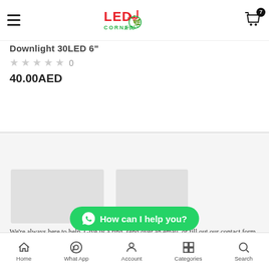LED Corner — Navigation header with logo and cart (7 items)
Downlight 30LED 6"
★★★★★ 0
40.00AED
[Figure (photo): Product images placeholder area]
We're always here to help. Give us a ring, send over an email, or fill out our contact form. Good communication is the key to getting your lighting just
Home | What App | Account | Categories | Search